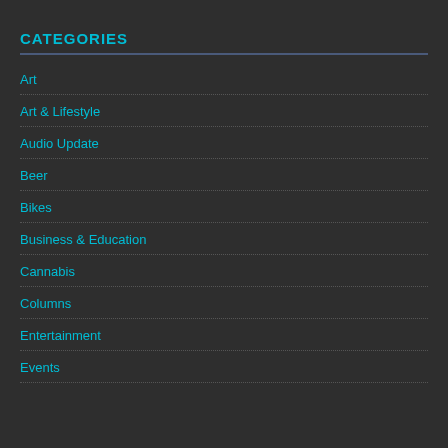CATEGORIES
Art
Art & Lifestyle
Audio Update
Beer
Bikes
Business & Education
Cannabis
Columns
Entertainment
Events